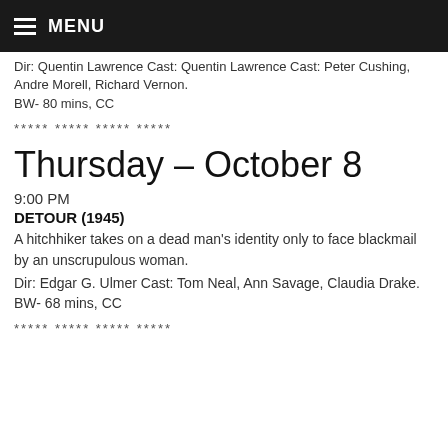MENU
Dir:  Quentin Lawrence Cast:  Peter Cushing, Andre Morell, Richard Vernon.
BW- 80 mins, CC
***** ***** ***** *****
Thursday – October 8
9:00 PM
DETOUR (1945)
A hitchhiker takes on a dead man's identity only to face blackmail by an unscrupulous woman.
Dir:  Edgar G. Ulmer Cast:  Tom Neal, Ann Savage, Claudia Drake.
BW- 68 mins, CC
***** ***** ***** *****